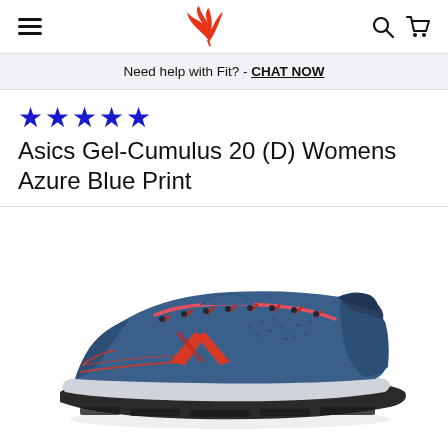Navigation header with hamburger menu, winged foot logo, search and cart icons
Need help with Fit? - CHAT NOW
★★★★★
Asics Gel-Cumulus 20 (D) Womens Azure Blue Print
[Figure (photo): Asics Gel-Cumulus 20 women's running shoe in azure blue with red/coral laces and ASICS logo, viewed from the lateral side, angled slightly downward.]